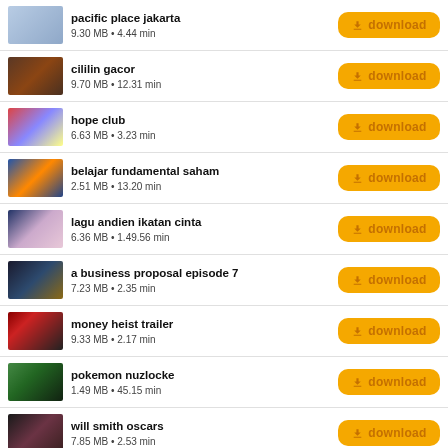pacific place jakarta
9.30 MB • 4.44 min
cililin gacor
9.70 MB • 12.31 min
hope club
6.63 MB • 3.23 min
belajar fundamental saham
2.51 MB • 13.20 min
lagu andien ikatan cinta
6.36 MB • 1.49.56 min
a business proposal episode 7
7.23 MB • 2.35 min
money heist trailer
9.33 MB • 2.17 min
pokemon nuzlocke
1.49 MB • 45.15 min
will smith oscars
7.85 MB • 2.53 min